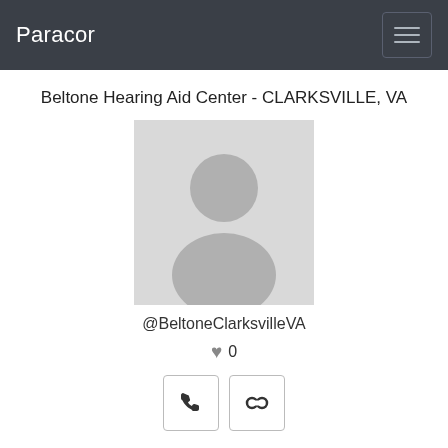Paracor
Beltone Hearing Aid Center - CLARKSVILLE, VA
[Figure (photo): Default avatar placeholder image showing a generic person silhouette on grey background]
@BeltoneClarksvilleVA
♥ 0
[Figure (infographic): Two icon buttons: a phone icon and a link/chain icon, each in a bordered square button]
Location
[Figure (map): Map showing streets including Drive and SR 1120 with a red pin marker, blue water features, and dashed boundary lines; zoom +/- controls visible on left]